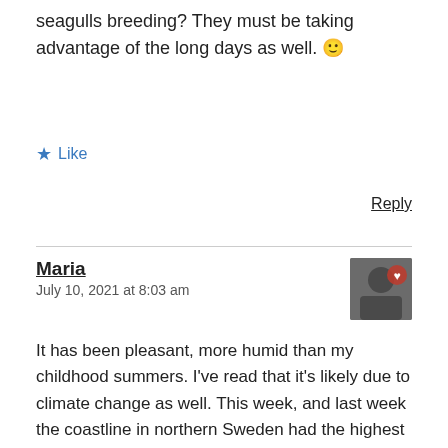seagulls breeding? They must be taking advantage of the long days as well. 🙂
★ Like
Reply
Maria
July 10, 2021 at 8:03 am
It has been pleasant, more humid than my childhood summers. I've read that it's likely due to climate change as well. This week, and last week the coastline in northern Sweden had the highest temperatures in the country, that is NOT normal. I watched a documentary about the wildlife up there, how the large number of elks might be in trouble if the temperature keep going